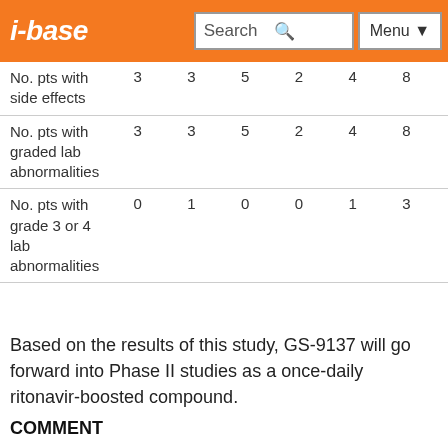i-base | Search | Menu
|  |  |  |  |  |  |  |
| --- | --- | --- | --- | --- | --- | --- |
| No. pts with side effects | 3 | 3 | 5 | 2 | 4 | 8 |
| No. pts with graded lab abnormalities | 3 | 3 | 5 | 2 | 4 | 8 |
| No. pts with grade 3 or 4 lab abnormalities | 0 | 1 | 0 | 0 | 1 | 3 |
Based on the results of this study, GS-9137 will go forward into Phase II studies as a once-daily ritonavir-boosted compound.
COMMENT